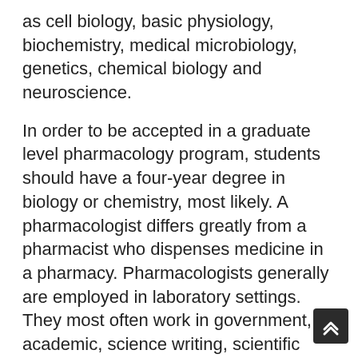as cell biology, basic physiology, biochemistry, medical microbiology, genetics, chemical biology and neuroscience.
In order to be accepted in a graduate level pharmacology program, students should have a four-year degree in biology or chemistry, most likely. A pharmacologist differs greatly from a pharmacist who dispenses medicine in a pharmacy. Pharmacologists generally are employed in laboratory settings. They most often work in government, academic, science writing, scientific patent, private industry, biotech, forensics, public health or environmental science settings.
Related Resource: Master's in Healthcare Administration in Public Health
As you can see, pharmacology is an in-depth study